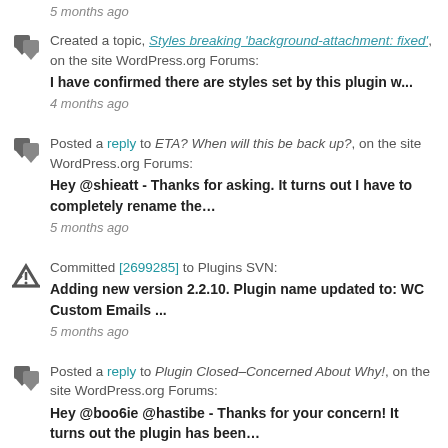5 months ago (truncated at top)
Created a topic, Styles breaking 'background-attachment: fixed', on the site WordPress.org Forums: I have confirmed there are styles set by this plugin w... 4 months ago
Posted a reply to ETA? When will this be back up?, on the site WordPress.org Forums: Hey @shieatt - Thanks for asking. It turns out I have to completely rename the... 5 months ago
Committed [2699285] to Plugins SVN: Adding new version 2.2.10. Plugin name updated to: WC Custom Emails ... 5 months ago
Posted a reply to Plugin Closed–Concerned About Why!, on the site WordPress.org Forums: Hey @boo6ie @hastibe - Thanks for your concern! It turns out the plugin has been... 5 months ago
Posted a reply to Custom subject lines; and Compatibility w/...